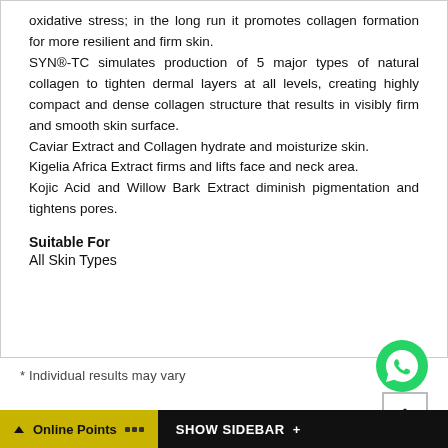oxidative stress; in the long run it promotes collagen formation for more resilient and firm skin. SYN®-TC simulates production of 5 major types of natural collagen to tighten dermal layers at all levels, creating highly compact and dense collagen structure that results in visibly firm and smooth skin surface. Caviar Extract and Collagen hydrate and moisturize skin. Kigelia Africa Extract firms and lifts face and neck area. Kojic Acid and Willow Bark Extract diminish pigmentation and tightens pores.
Suitable For
All Skin Types
* Individual results may vary
[Figure (logo): WhatsApp green circle phone icon]
[Figure (other): Scroll to top button with upward chevron arrow]
Online Points  SHOW SIDEBAR +